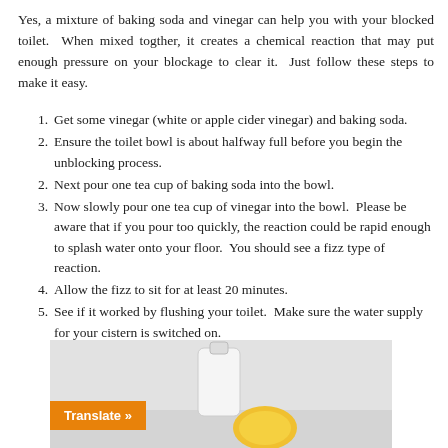Yes, a mixture of baking soda and vinegar can help you with your blocked toilet.  When mixed togther, it creates a chemical reaction that may put enough pressure on your blockage to clear it.  Just follow these steps to make it easy.
Get some vinegar (white or apple cider vinegar) and baking soda.
Ensure the toilet bowl is about halfway full before you begin the unblocking process.
Next pour one tea cup of baking soda into the bowl.
Now slowly pour one tea cup of vinegar into the bowl.  Please be aware that if you pour too quickly, the reaction could be rapid enough to splash water onto your floor.  You should see a fizz type of reaction.
Allow the fizz to sit for at least 20 minutes.
See if it worked by flushing your toilet.  Make sure the water supply for your cistern is switched on.
[Figure (photo): Photo of a white bottle and a lemon/yellow citrus item on a light grey background, with an orange 'Translate »' button overlay in the lower left.]